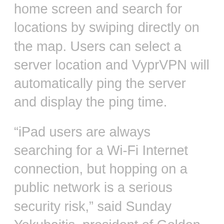home screen and search for locations by swiping directly on the map. Users can select a server location and VyprVPN will automatically ping the server and display the ping time.
“iPad users are always searching for a Wi-Fi Internet connection, but hopping on a public network is a serious security risk,” said Sunday Yokubaitis, president of Golden Frog. “By introducing a VyprVPN app optimized for the iPad, we have provided users with an easy setup and a visual experience so they can get a secure, encrypted Internet connection no matter where they are.”